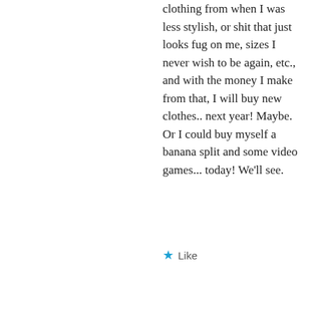clothing from when I was less stylish, or shit that just looks fug on me, sizes I never wish to be again, etc., and with the money I make from that, I will buy new clothes.. next year! Maybe. Or I could buy myself a banana split and some video games... today! We'll see.
★ Like
[Figure (photo): Avatar photo of thebedazzledbubbe user showing a soap bubble with rainbow reflections against a green background]
thebedazzledbubbe
JULY 21, 2011 AT 10:33 PM
I should probably try something like this. I absolutely adore fashion and all aspects of it, but I am a complete shopaholic. You can not fit another hanger in my closet, yet when I go to get dressed, I look in the closet and see nothing interesting to wear and end up going to buy